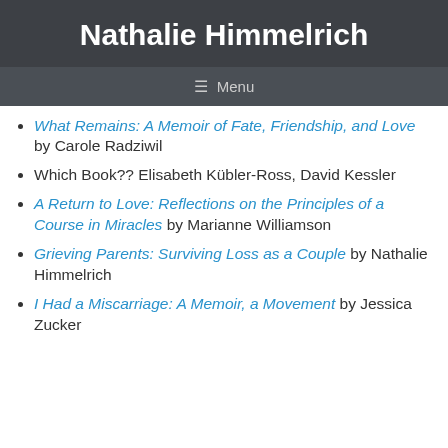Nathalie Himmelrich
Menu
What Remains: A Memoir of Fate, Friendship, and Love by Carole Radziwil
Which Book?? Elisabeth Kübler-Ross, David Kessler
A Return to Love: Reflections on the Principles of a Course in Miracles by Marianne Williamson
Grieving Parents: Surviving Loss as a Couple by Nathalie Himmelrich
I Had a Miscarriage: A Memoir, a Movement by Jessica Zucker